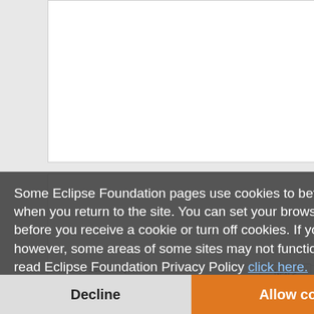[Figure (screenshot): Eclipse IDE wizard screenshot showing Create a Scout Project dialog with project name field 'org.eclipse.scout.helloworld' and checkboxes for UI framework options including org.eclipse.scout.helloworld.ui.rap, org.eclipse.scout.helloworld.ui.swing, and org.eclipse.scout.helloworld.ui.swt. A Next > button is visible.]
Some Eclipse Foundation pages use cookies to better serve you when you return to the site. You can set your browser to notify you before you receive a cookie or turn off cookies. If you do so, however, some areas of some sites may not function properly. To read Eclipse Foundation Privacy Policy click here.
Decline
Allow cookies